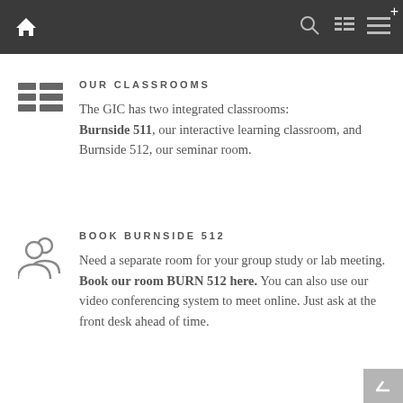[Figure (screenshot): Dark navigation bar with home icon, search icon, list/menu icons, and a plus icon in the top right corner]
OUR CLASSROOMS
The GIC has two integrated classrooms: Burnside 511, our interactive learning classroom, and Burnside 512, our seminar room.
BOOK BURNSIDE 512
Need a separate room for your group study or lab meeting. Book our room BURN 512 here. You can also use our video conferencing system to meet online. Just ask at the front desk ahead of time.